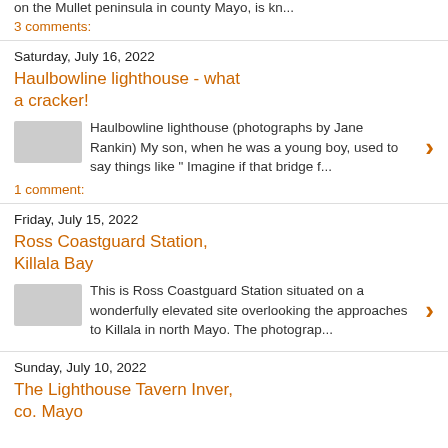on the Mullet peninsula in county Mayo, is kn...
3 comments:
Saturday, July 16, 2022
Haulbowline lighthouse - what a cracker!
Haulbowline lighthouse (photographs by Jane Rankin) My son, when he was a young boy, used to say things like " Imagine if that bridge f...
1 comment:
Friday, July 15, 2022
Ross Coastguard Station, Killala Bay
This is Ross Coastguard Station situated on a wonderfully elevated site overlooking the approaches to Killala in north Mayo. The photograp...
Sunday, July 10, 2022
The Lighthouse Tavern Inver, co. Mayo